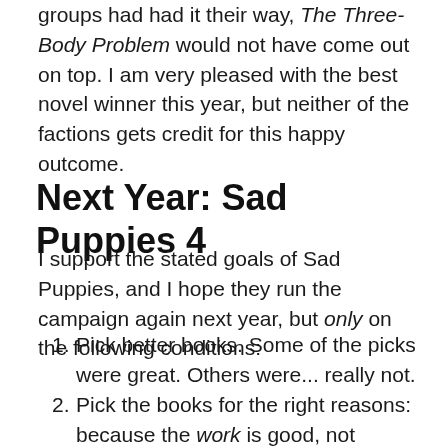groups had had it their way, The Three-Body Problem would not have come out on top. I am very pleased with the best novel winner this year, but neither of the factions gets credit for this happy outcome.
Next Year: Sad Puppies 4
I support the stated goals of Sad Puppies, and I hope they run the campaign again next year, but only on the following conditions:
Pick better books. Some of the picks were great. Others were... really not.
Pick the books for the right reasons: because the work is good, not because the author is important / wrote a lot /